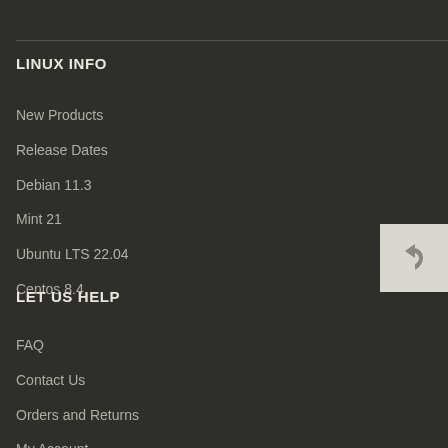LINUX INFO
New Products
Release Dates
Debian 11.3
Mint 21
Ubuntu LTS 22.04
Centos 8.4
LET US HELP
FAQ
Contact Us
Orders and Returns
My Account
Wishlist